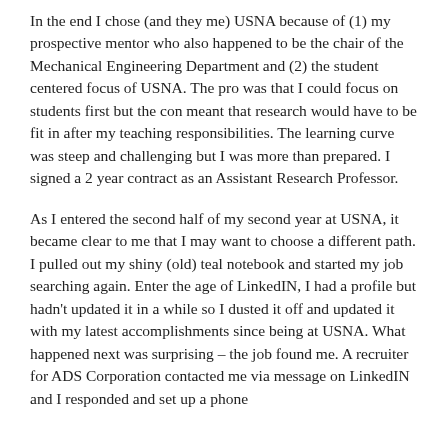In the end I chose (and they me) USNA because of (1) my prospective mentor who also happened to be the chair of the Mechanical Engineering Department and (2) the student centered focus of USNA. The pro was that I could focus on students first but the con meant that research would have to be fit in after my teaching responsibilities. The learning curve was steep and challenging but I was more than prepared. I signed a 2 year contract as an Assistant Research Professor.
As I entered the second half of my second year at USNA, it became clear to me that I may want to choose a different path. I pulled out my shiny (old) teal notebook and started my job searching again. Enter the age of LinkedIN, I had a profile but hadn't updated it in a while so I dusted it off and updated it with my latest accomplishments since being at USNA. What happened next was surprising – the job found me. A recruiter for ADS Corporation contacted me via message on LinkedIN and I responded and set up a phone